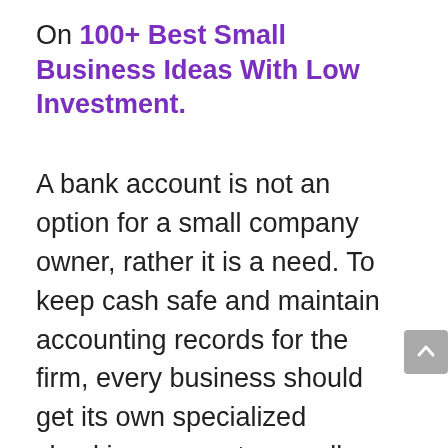On 100+ Best Small Business Ideas With Low Investment.
A bank account is not an option for a small company owner, rather it is a need. To keep cash safe and maintain accounting records for the firm, every business should get its own specialized checking account, as well as maybe savings, credit cards, as well as other accounts. With a free or low-cost business checking account, as well as choices for savings, credit cards, business loans, or merchant services, the best banks for small businesses provide entrepreneurs